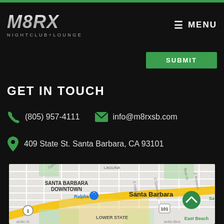[Figure (logo): M8RX NIGHTCLUB+LOUNGE logo in metallic silver/grey italic bold text]
MENU
SUBMIT
GET IN TOUCH
(805) 957-4111
info@m8rxsb.com
409 State St. Santa Barbara, CA 93101
[Figure (map): Google Maps screenshot showing Santa Barbara Downtown area with streets, Ralphs location marker, Santa Barbara label, Laguna neighborhood, Lower State area, East Beach label, Highway 101 in yellow, and surrounding streets including Garden St, E Haley St, E Gutierrez St, E Montecito]